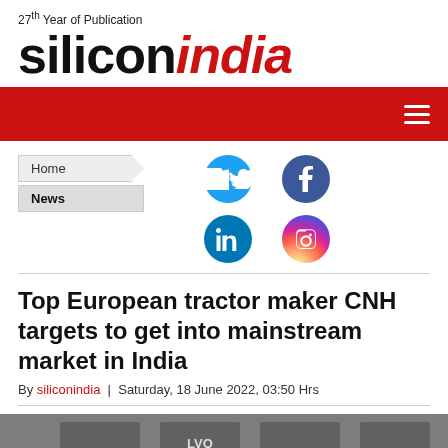27th Year of Publication
siliconindia
[Figure (screenshot): Red navigation bar with hamburger menu icon on the right]
[Figure (screenshot): Navigation breadcrumb (Home > News) with Twitter, Facebook, LinkedIn, Instagram social media icons]
Top European tractor maker CNH targets to get into mainstream market in India
By siliconindia | Saturday, 18 June 2022, 03:50 Hrs
[Figure (photo): Partial photo of tractors at the bottom of the page]